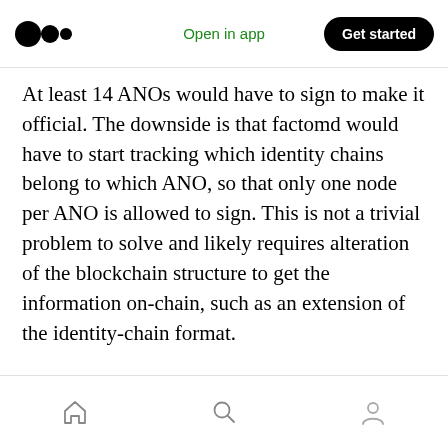Open in app | Get started
At least 14 ANOs would have to sign to make it official. The downside is that factomd would have to start tracking which identity chains belong to which ANO, so that only one node per ANO is allowed to sign. This is not a trivial problem to solve and likely requires alteration of the blockchain structure to get the information on-chain, such as an extension of the identity-chain format.
Other solutions are possible but will require more technical solutions. The threshold of votes required can also be raised (or lowered) as
Home | Search | Profile